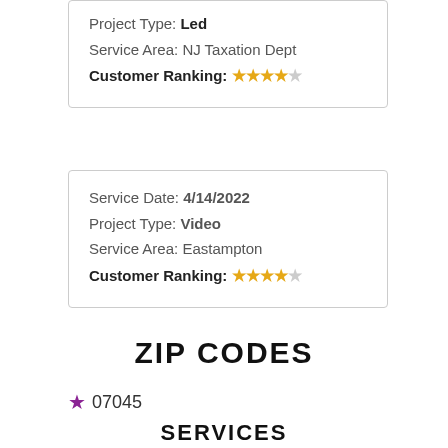Project Type: Led
Service Area: NJ Taxation Dept
Customer Ranking: ★★★★☆
Service Date: 4/14/2022
Project Type: Video
Service Area: Eastampton
Customer Ranking: ★★★★☆
ZIP CODES
★ 07045
SERVICES